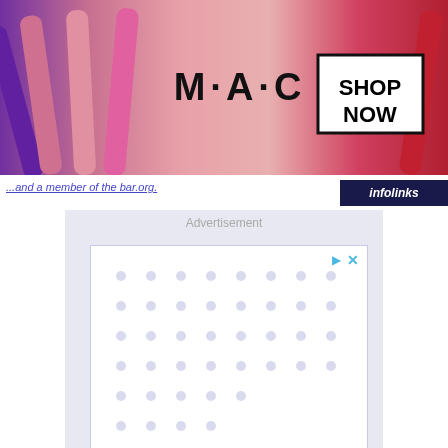[Figure (illustration): MAC Cosmetics advertisement banner with lipsticks on left and right, MAC logo in center with SHOP NOW button]
...and a member of the bar.org.
[Figure (screenshot): Advertisement placeholder showing Google Cloud Security text partially visible with dots pattern]
[Figure (illustration): Frontgate: Outdoor Furniture | Bedding advertisement with 25% off sitewide sale, image of dark promotional graphic, and arrow button]